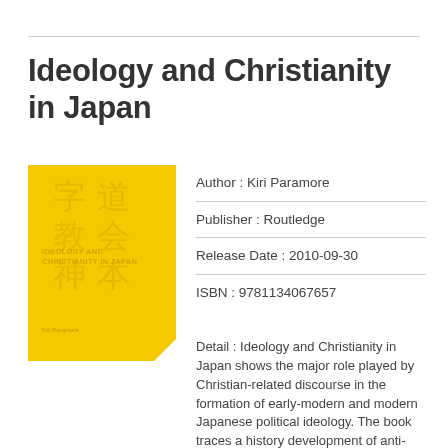Ideology and Christianity in Japan
[Figure (illustration): Book cover for 'Ideology and Christianity in Japan' by Kiri Paramore. Yellow cover with faint Japanese characters as watermark, small text title and author name, with a folded bottom-right corner.]
Author : Kiri Paramore
Publisher : Routledge
Release Date : 2010-09-30
ISBN : 9781134067657
Detail : Ideology and Christianity in Japan shows the major role played by Christian-related discourse in the formation of early-modern and modern Japanese political ideology. The book traces a history development of anti-Christian ideas in Japan from the banning of Christianity by the Tokugawa shogunate in the early